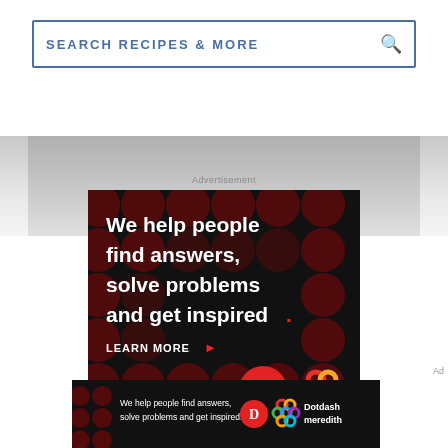[Figure (screenshot): Search bar with text 'SEARCH RECIPES & MORE' and search icon on right, blue border]
[Figure (photo): Partial photograph showing a light gray surface, cropped at top]
Advertisement
[Figure (illustration): Dotdash Meredith advertisement on black background with dark red dot pattern. White bold text reads: 'We help people find answers, solve problems and get inspired.' with red period. 'LEARN MORE' with red arrow. Dotdash D logo (red circle with white D) and Meredith colorful knot logo.]
Ad
[Figure (illustration): Bottom banner ad: black background, white text 'We help people find answers, solve problems and get inspired.' with Dotdash D logo and Meredith knot logo, and 'Dotdash meredith' text in white.]